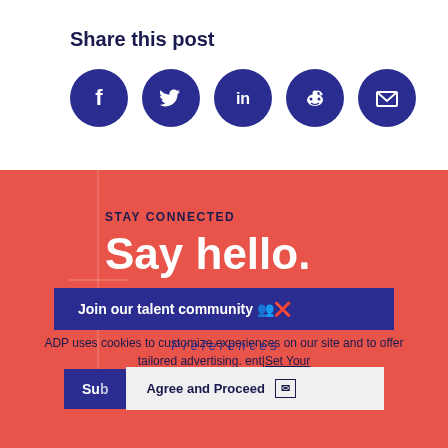Share this post
[Figure (infographic): Social media share icons: Facebook, Twitter, LinkedIn, Reddit, Email — all displayed as white icons on dark navy blue circular buttons]
STAY CONNECTED
Say hello.
ADP uses cookies to customize experiences on our site and to offer tailored advertising.
Join our talent community
Agree and Proceed